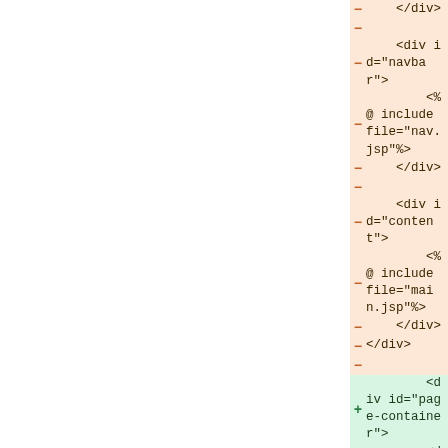[Figure (screenshot): A code diff view showing removed lines (red/orange background with minus markers) and added lines (green background with plus markers). The diff shows JSP template code changes replacing old div structure with a new page-container based structure. Removed lines include: </div>, blank, <div id="navbar">, <%@ include file="nav.jsp"%>, </div>, blank, <div id="content">, <%@ include file="main.jsp"%>, </div>, </div>, blank. Added lines include: <div id="page-container">, <div id="header">, <%@ include file="../header.jsp" %>, </div>, blank, <div id="navbar">, <%@ include file="nav.jsp" %>, </div>, blank, <div id="content">, <%@ include file="main.jsp" %> (partial).]